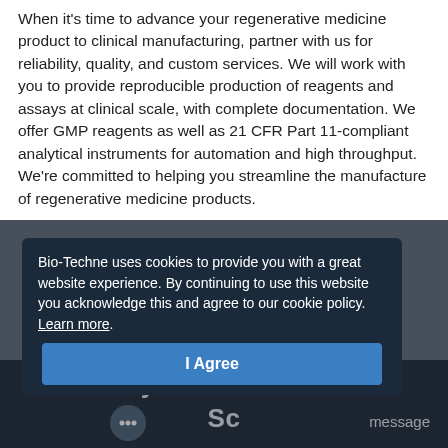When it's time to advance your regenerative medicine product to clinical manufacturing, partner with us for reliability, quality, and custom services. We will work with you to provide reproducible production of reagents and assays at clinical scale, with complete documentation. We offer GMP reagents as well as 21 CFR Part 11-compliant analytical instruments for automation and high throughput. We're committed to helping you streamline the manufacture of regenerative medicine products.
Bio-Techne uses cookies to provide you with a great website experience. By continuing to use this website you acknowledge this and agree to our cookie policy. Learn more.
I Agree
Stay Informed. New Sc... message